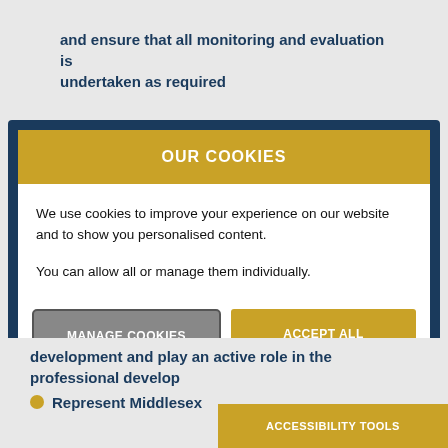and ensure that all monitoring and evaluation is undertaken as required
[Figure (screenshot): Cookie consent modal dialog with dark navy border, gold header reading OUR COOKIES, body text about cookies usage, and two buttons: MANAGE COOKIES (grey) and ACCEPT ALL (gold)]
development and play an active role in the professional development
Represent Middlesex
ACCESSIBILITY TOOLS